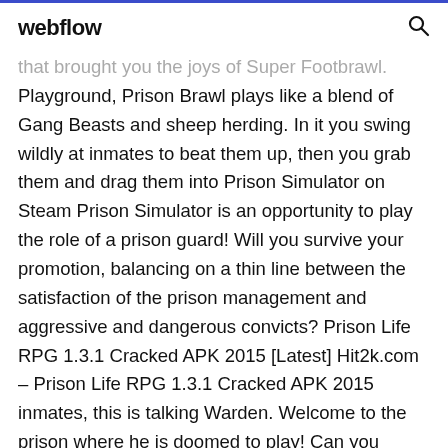webflow
that brought you the joys of Super Footbrawl. Playground, Prison Brawl plays like a blend of Gang Beasts and sheep herding. In it you swing wildly at inmates to beat them up, then you grab them and drag them into Prison Simulator on Steam Prison Simulator is an opportunity to play the role of a prison guard! Will you survive your promotion, balancing on a thin line between the satisfaction of the prison management and aggressive and dangerous convicts? Prison Life RPG 1.3.1 Cracked APK 2015 [Latest] Hit2k.com – Prison Life RPG 1.3.1 Cracked APK 2015 inmates, this is talking Warden. Welcome to the prison where he is doomed to play! Can you survive the hard life in